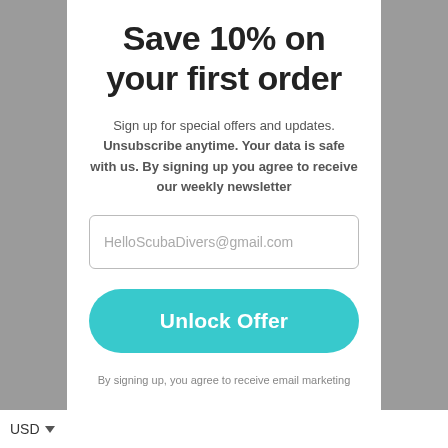Save 10% on your first order
Sign up for special offers and updates. Unsubscribe anytime. Your data is safe with us. By signing up you agree to receive our weekly newsletter
HelloScubaDivers@gmail.com
Unlock Offer
By signing up, you agree to receive email marketing
USD